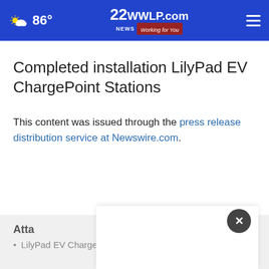86° | 22WWLP.com News Working for You
Completed installation LilyPad EV ChargePoint Stations
This content was issued through the press release distribution service at Newswire.com.
Attachments
LilyPad EV ChargePoint Stations